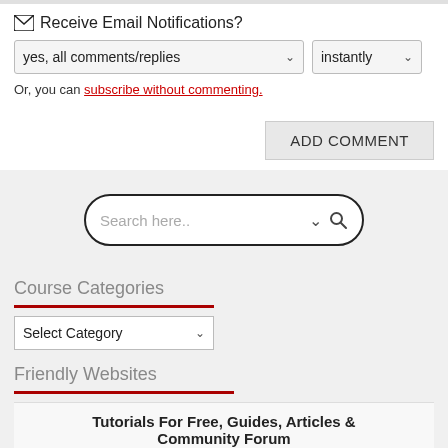✉ Receive Email Notifications?
yes, all comments/replies | instantly
Or, you can subscribe without commenting.
ADD COMMENT
[Figure (screenshot): Search box with rounded border, placeholder 'Search here..', dropdown arrow and magnifying glass icons]
Course Categories
Select Category
Friendly Websites
Tutorials For Free, Guides, Articles & Community Forum